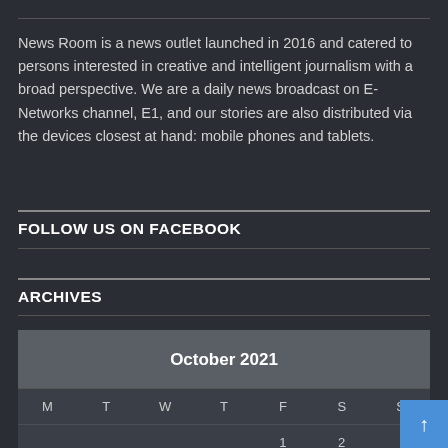News Room is a news outlet launched in 2016 and catered to persons interested in creative and intelligent journalism with a broad perspective. We are a daily news broadcast on E-Networks channel, E1, and our stories are also distributed via the devices closest at hand: mobile phones and tablets.
FOLLOW US ON FACEBOOK
ARCHIVES
| M | T | W | T | F | S | S |
| --- | --- | --- | --- | --- | --- | --- |
|  |  |  |  | 1 | 2 |  |